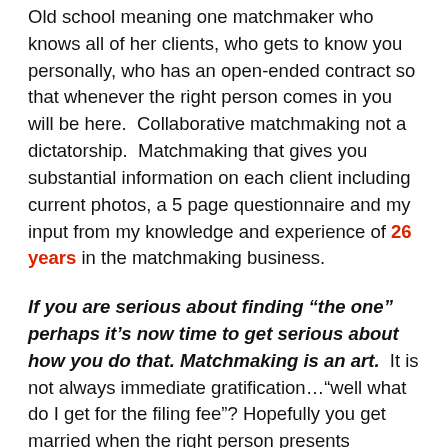Old school meaning one matchmaker who knows all of her clients, who gets to know you personally, who has an open-ended contract so that whenever the right person comes in you will be here.  Collaborative matchmaking not a dictatorship.  Matchmaking that gives you substantial information on each client including current photos, a 5 page questionnaire and my input from my knowledge and experience of 26 years in the matchmaking business.
If you are serious about finding “the one” perhaps it’s now time to get serious about how you do that. Matchmaking is an art.  It is not always immediate gratification…“well what do I get for the filing fee”? Hopefully you get married when the right person presents themselves, you get to be a client until and when that person presents themselves, you invest a fraction of the expense you would pay in services who just throw you